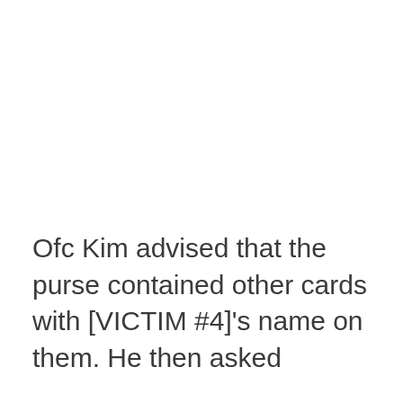Ofc Kim advised that the purse contained other cards with [VICTIM #4]'s name on them. He then asked